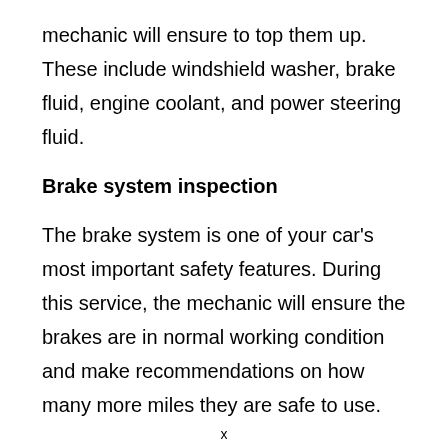mechanic will ensure to top them up. These include windshield washer, brake fluid, engine coolant, and power steering fluid.
Brake system inspection
The brake system is one of your car's most important safety features. During this service, the mechanic will ensure the brakes are in normal working condition and make recommendations on how many more miles they are safe to use.